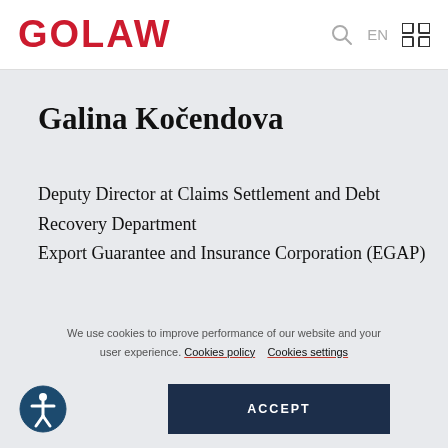GOLAW
Galina Kočendova
Deputy Director at Claims Settlement and Debt Recovery Department Export Guarantee and Insurance Corporation (EGAP)
We use cookies to improve performance of our website and your user experience. Cookies policy   Cookies settings
ACCEPT